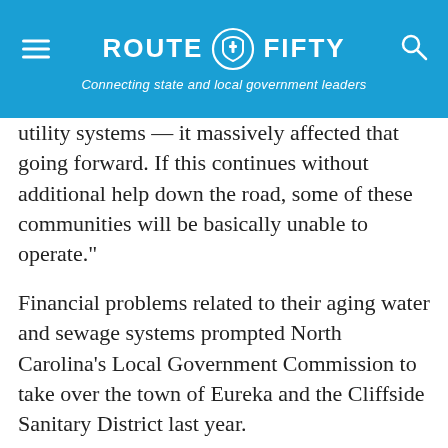ROUTE FIFTY — Connecting state and local government leaders
utility systems — it massively affected that going forward. If this continues without additional help down the road, some of these communities will be basically unable to operate."
Financial problems related to their aging water and sewage systems prompted North Carolina's Local Government Commission to take over the town of Eureka and the Cliffside Sanitary District last year.
The commission, which is staffed by the Department of the State Treasurer, is developing